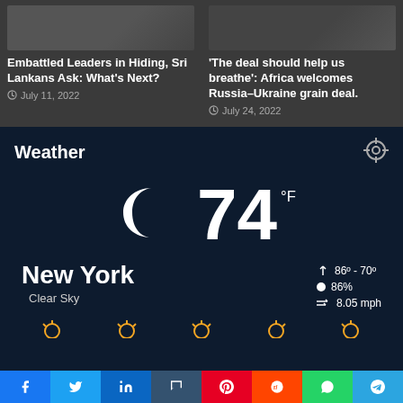Embattled Leaders in Hiding, Sri Lankans Ask: What’s Next?
July 11, 2022
‘The deal should help us breathe’: Africa welcomes Russia–Ukraine grain deal.
July 24, 2022
Weather
74 °F
New York
Clear Sky
86º - 70º
86%
8.05 mph